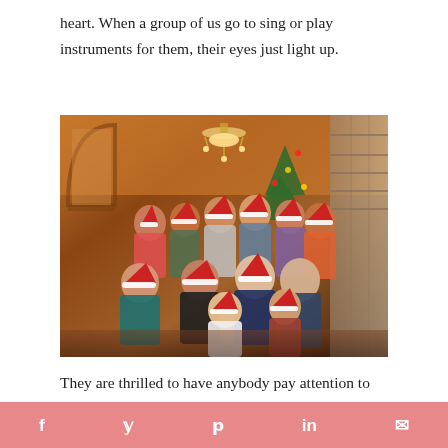heart. When a group of us go to sing or play instruments for them, their eyes just light up.
[Figure (photo): Group photo of adults and children wearing Santa hats inside a warm-toned room with an arch, chandelier, and stone fireplace, taken at what appears to be a nursing home or senior living facility during Christmas.]
They are thrilled to have anybody pay attention to them, pat them on the back, ask how they are doing,
f  y  p  in  ✉